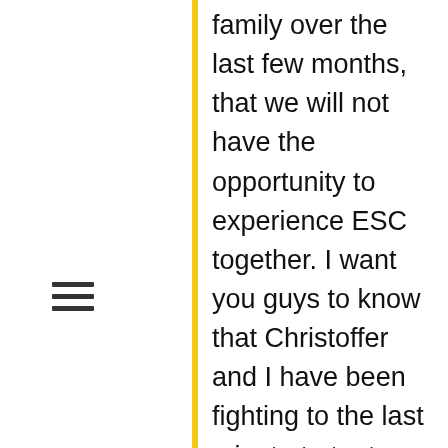[Figure (other): Vertical yellow/gold bar acting as a visual divider between left sidebar and main text content]
[Figure (other): Hamburger menu icon (three horizontal lines) on the left sidebar]
family over the last few months, that we will not have the opportunity to experience ESC together. I want you guys to know that Christoffer and I have been fighting to the last minute to try to make this possible. This was our dream ♥ NRK has offered me to be a finalist in MGP 2021 now as it will be a regular MGP year. As of now I have declined, but you should never say never. I don't want a final place on the grounds that I